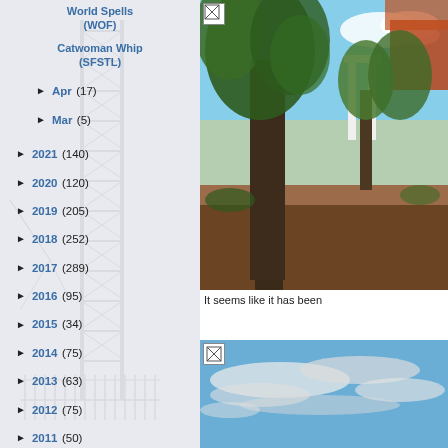World Spells (WOF)
Catwoman Whip (SFSTL)
► Apr (17)
► Mar (5)
► 2021 (140)
► 2020 (120)
► 2019 (205)
► 2018 (252)
► 2017 (289)
► 2016 (95)
► 2015 (34)
► 2014 (75)
► 2013 (63)
► 2012 (75)
► 2011 (50)
► 2010 (53)
[Figure (photo): Outdoor garden/park scene with large trees, mulched beds, a white column structure, and a red/orange building in background under blue sky]
It seems like it has been
[Figure (photo): Cloudy blue sky scene, partial view]